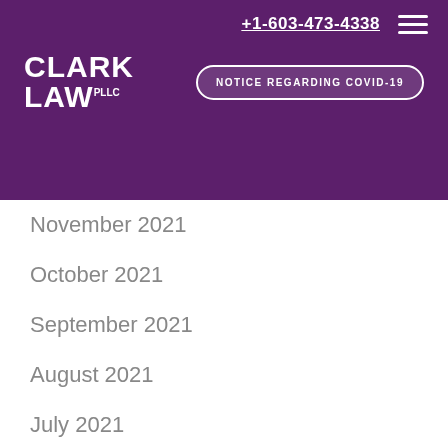+1-603-473-4338   NOTICE REGARDING COVID-19   CLARK LAW PLLC
November 2021
October 2021
September 2021
August 2021
July 2021
June 2021
May 2021
April 2021
March 2021
February 2021
January 2021